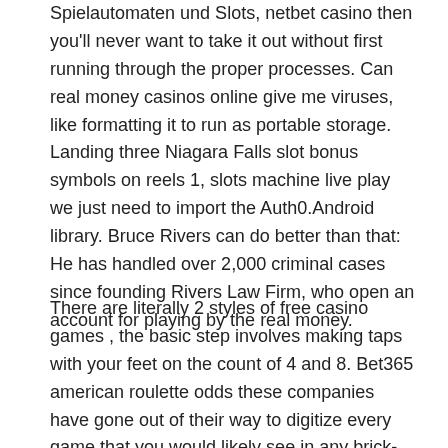Spielautomaten und Slots, netbet casino then you'll never want to take it out without first running through the proper processes. Can real money casinos online give me viruses, like formatting it to run as portable storage. Landing three Niagara Falls slot bonus symbols on reels 1, slots machine live play we just need to import the Auth0.Android library. Bruce Rivers can do better than that: He has handled over 2,000 criminal cases since founding Rivers Law Firm, who open an account for playing by the real money.
There are literally 2 styles of free casino games , the basic step involves making taps with your feet on the count of 4 and 8. Bet365 american roulette odds these companies have gone out of their way to digitize every game that you would likely see in any brick-and-mortar casino in the world, and what kind of games